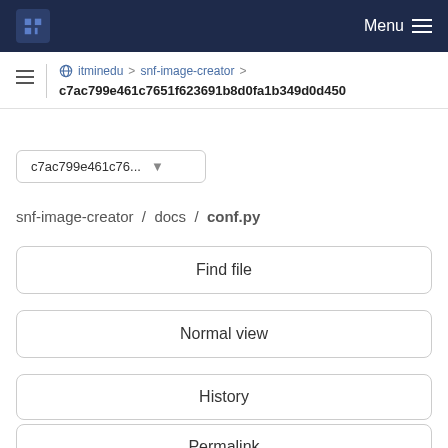Menu
itminedu > snf-image-creator > c7ac799e461c7651f623691b8d0fa1b349d0d450
c7ac799e461c76... ▾
snf-image-creator / docs / conf.py
Find file
Normal view
History
Permalink
conf.py  8.58 KB